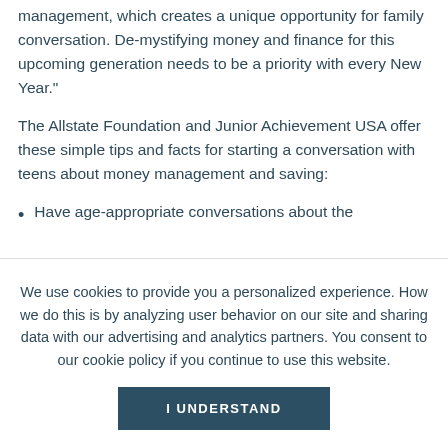management, which creates a unique opportunity for family conversation. De-mystifying money and finance for this upcoming generation needs to be a priority with every New Year."
The Allstate Foundation and Junior Achievement USA offer these simple tips and facts for starting a conversation with teens about money management and saving:
Have age-appropriate conversations about the
We use cookies to provide you a personalized experience. How we do this is by analyzing user behavior on our site and sharing data with our advertising and analytics partners. You consent to our cookie policy if you continue to use this website.
I UNDERSTAND